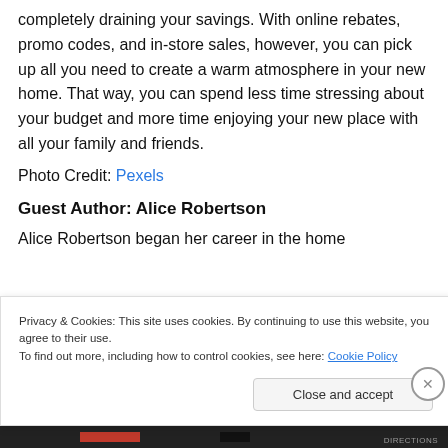completely draining your savings. With online rebates, promo codes, and in-store sales, however, you can pick up all you need to create a warm atmosphere in your new home. That way, you can spend less time stressing about your budget and more time enjoying your new place with all your family and friends.
Photo Credit: Pexels
Guest Author: Alice Robertson
Alice Robertson began her career in the home
Privacy & Cookies: This site uses cookies. By continuing to use this website, you agree to their use.
To find out more, including how to control cookies, see here: Cookie Policy
Close and accept